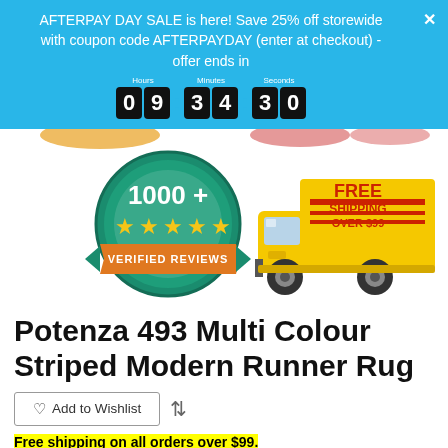AFTERPAY DAY SALE is here! Save 25% off storewide with coupon code AFTERPAYDAY (enter at checkout) - offer ends in 09:34:30
[Figure (illustration): Promotional banner showing 1000+ verified reviews badge with gold stars and a yellow delivery truck with FREE SHIPPING OVER $99 text]
Potenza 493 Multi Colour Striped Modern Runner Rug
♡ Add to Wishlist
Free shipping on all orders over $99.